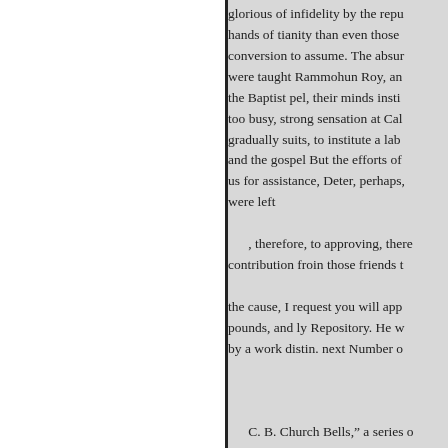glorious of infidelity by the repu hands of tianity than even those conversion to assume. The absur were taught Rammohun Roy, an the Baptist pel, their minds insti too busy, strong sensation at Cal gradually suits, to institute a lab and the gospel But the efforts of us for assistance, Deter, perhaps, were left
, therefore, to approving, there contribution froin those friends t
the cause, I request you will app pounds, and ly Repository. He w by a work distin. next Number o
C. B. Church Bells," a series o the principal calls of duty of a cl man. His present work is entitled
"Helon's Pilgrimage to Jerusa Christ," his master, Mr. William